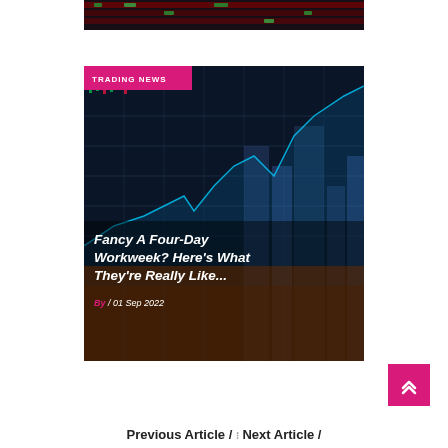[Figure (photo): Top partial image of financial trading data/stock market display with red and green candlestick tickers]
[Figure (photo): Article card with financial trading chart background showing upward line graph and city skyline. Has TRADING NEWS badge at top, article title, and metadata.]
TRADING NEWS
Fancy A Four-Day Workweek? Here's What They're Really Like...
By / 01 Sep 2022
Previous Article / :: Next Article /